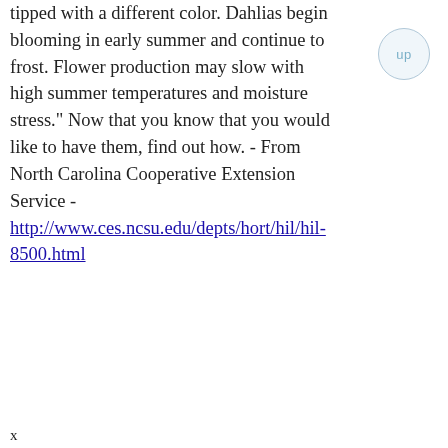tipped with a different color. Dahlias begin blooming in early summer and continue to frost. Flower production may slow with high summer temperatures and moisture stress." Now that you know that you would like to have them, find out how. - From North Carolina Cooperative Extension Service - http://www.ces.ncsu.edu/depts/hort/hil/hil-8500.html
x